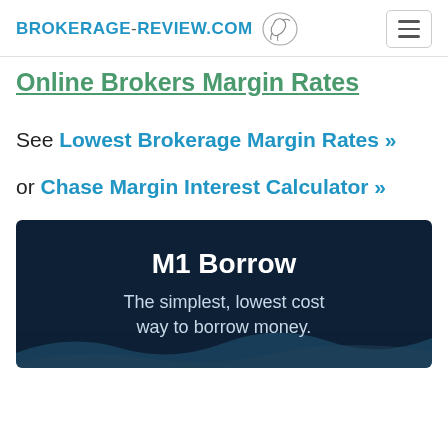BROKERAGE-REVIEW.COM
Online Brokers Margin Rates
See Lowest Brokerage Margin Rates »
or Chase Margin Interest Calculator »
[Figure (infographic): M1 Borrow advertisement banner with dark navy background and wave pattern. Large white bold text reads 'M1 Borrow' and below it reads 'The simplest, lowest cost way to borrow money.']